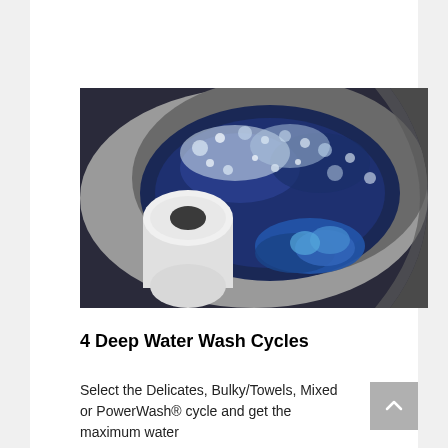[Figure (photo): Close-up top-down view inside a top-loading washing machine drum filled with swirling dark blue water with white foam/bubbles, blue fabric visible at the bottom, and the central agitator post in the foreground.]
4 Deep Water Wash Cycles
Select the Delicates, Bulky/Towels, Mixed or PowerWash® cycle and get the maximum water